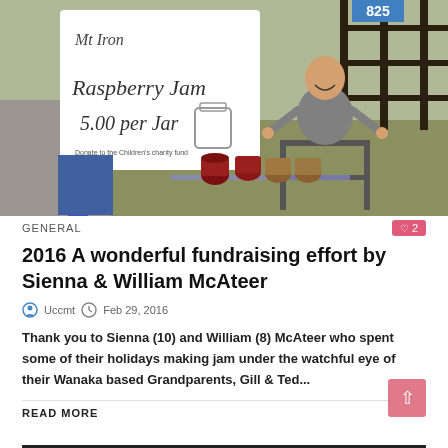[Figure (photo): A boy sitting in a chair giving thumbs up next to jars of jam on a table, with a person holding a sign that reads 'Mt Iron Raspberry Jam 5.00 per Jar'. House number 825 visible in background.]
GENERAL
2016 A wonderful fundraising effort by Sienna & William McAteer
Uccmt  Feb 29, 2016
Thank you to Sienna (10) and William (8) McAteer who spent some of their holidays making jam under the watchful eye of their Wanaka based Grandparents, Gill & Ted...
READ MORE